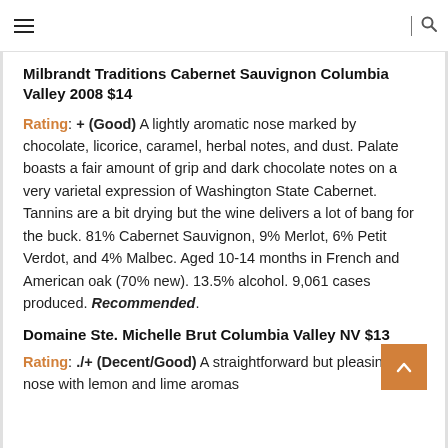☰ | 🔍
Milbrandt Traditions Cabernet Sauvignon Columbia Valley 2008 $14
Rating: + (Good) A lightly aromatic nose marked by chocolate, licorice, caramel, herbal notes, and dust. Palate boasts a fair amount of grip and dark chocolate notes on a very varietal expression of Washington State Cabernet. Tannins are a bit drying but the wine delivers a lot of bang for the buck. 81% Cabernet Sauvignon, 9% Merlot, 6% Petit Verdot, and 4% Malbec. Aged 10-14 months in French and American oak (70% new). 13.5% alcohol. 9,061 cases produced. Recommended.
Domaine Ste. Michelle Brut Columbia Valley NV $13
Rating: ./+ (Decent/Good) A straightforward but pleasing nose with lemon and lime aromas